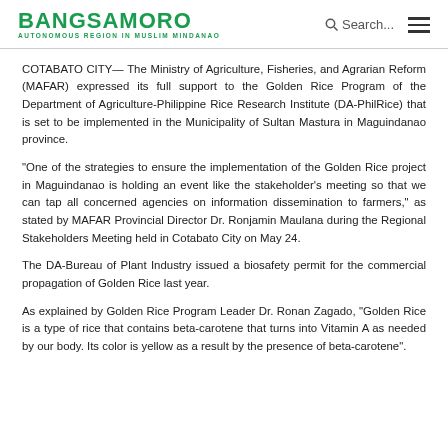BANGSAMORO AUTONOMOUS REGION IN MUSLIM MINDANAO
COTABATO CITY— The Ministry of Agriculture, Fisheries, and Agrarian Reform (MAFAR) expressed its full support to the Golden Rice Program of the Department of Agriculture-Philippine Rice Research Institute (DA-PhilRice) that is set to be implemented in the Municipality of Sultan Mastura in Maguindanao province.
“One of the strategies to ensure the implementation of the Golden Rice project in Maguindanao is holding an event like the stakeholder’s meeting so that we can tap all concerned agencies on information dissemination to farmers,” as stated by MAFAR Provincial Director Dr. Ronjamin Maulana during the Regional Stakeholders Meeting held in Cotabato City on May 24.
The DA-Bureau of Plant Industry issued a biosafety permit for the commercial propagation of Golden Rice last year.
As explained by Golden Rice Program Leader Dr. Ronan Zagado, “Golden Rice is a type of rice that contains beta-carotene that turns into Vitamin A as needed by our body. Its color is yellow as a result by the presence of beta-carotene”.